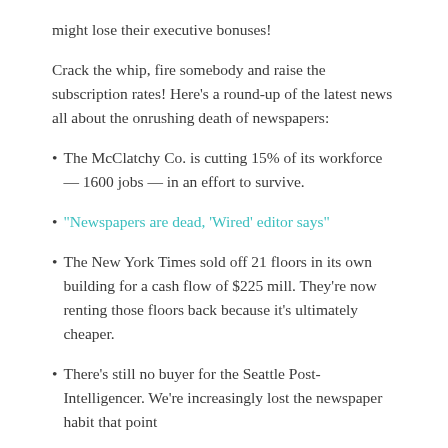might lose their executive bonuses!
Crack the whip, fire somebody and raise the subscription rates! Here's a round-up of the latest news all about the onrushing death of newspapers:
The McClatchy Co. is cutting 15% of its workforce — 1600 jobs — in an effort to survive.
"Newspapers are dead, 'Wired' editor says"
The New York Times sold off 21 floors in its own building for a cash flow of $225 mill. They're now renting those floors back because it's ultimately cheaper.
There's still no buyer for the Seattle Post-Intelligencer. We're increasingly lost the newspaper habit that point